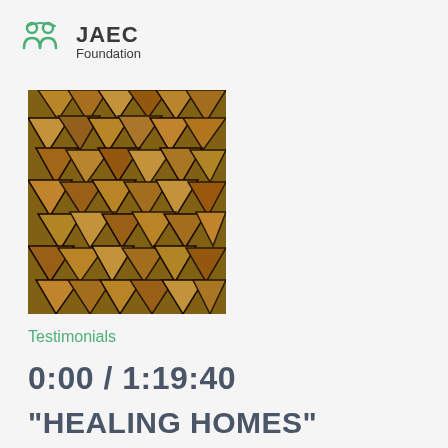JAEC Foundation
[Figure (photo): A close-up photo of stacked chopped firewood logs, showing the cut cross-sections with wood grain and dark marks.]
Testimonials
0:00 / 1:19:40
“HEALING HOMES”